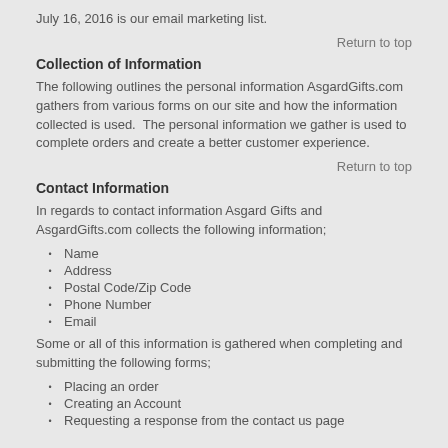July 16, 2016 is our email marketing list.
Return to top
Collection of Information
The following outlines the personal information AsgardGifts.com gathers from various forms on our site and how the information collected is used.  The personal information we gather is used to complete orders and create a better customer experience.
Return to top
Contact Information
In regards to contact information Asgard Gifts and AsgardGifts.com collects the following information;
Name
Address
Postal Code/Zip Code
Phone Number
Email
Some or all of this information is gathered when completing and submitting the following forms;
Placing an order
Creating an Account
Requesting a response from the contact us page